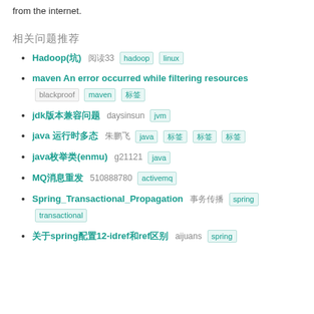from the internet.
相关问题推荐
Hadoop(坑)  阅读33  hadoop  linux
maven An error occurred while filtering resources  blackproof  maven  标签
jdk版本兼容问题  daysinsun  jvm
java 运行时多态  朱鹏飞  java  标签  标签  标签
java枚举类(enmu)  g21121  java
MQ消息重发  510888780  activemq
Spring_Transactional_Propagation  事务传播  spring  transactional
关于spring配置12-idref和ref区别  aijuans  spring